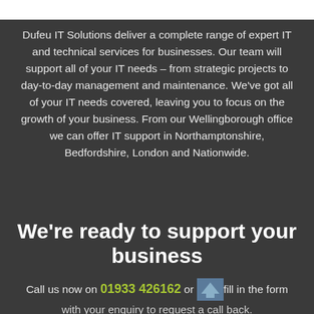Dufeu IT Solutions deliver a complete range of expert IT and technical services for businesses. Our team will support all of your IT needs – from strategic projects to day-to-day management and maintenance. We've got all of your IT needs covered, leaving you to focus on the growth of your business. From our Wellingborough office we can offer IT support in Northamptonshire, Bedfordshire, London and Nationwide.
We're ready to support your business
Call us now on 01933 426162 or fill in the form with your enquiry to request a call back.